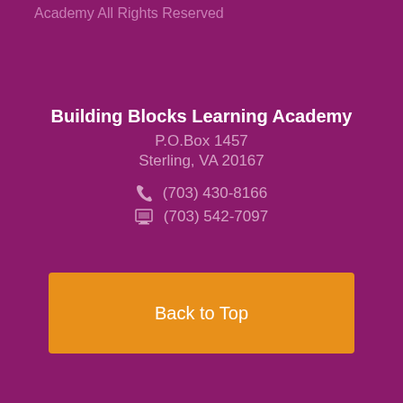Academy All Rights Reserved
Building Blocks Learning Academy
P.O.Box 1457
Sterling, VA 20167
☎ (703) 430-8166
🖨 (703) 542-7097
Back to Top